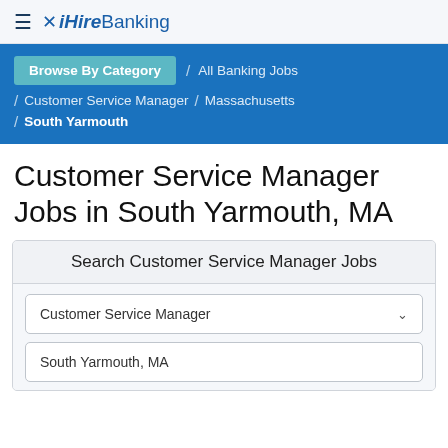☰ iHire Banking
Browse By Category / All Banking Jobs / Customer Service Manager / Massachusetts / South Yarmouth
Customer Service Manager Jobs in South Yarmouth, MA
Search Customer Service Manager Jobs
Customer Service Manager
South Yarmouth, MA